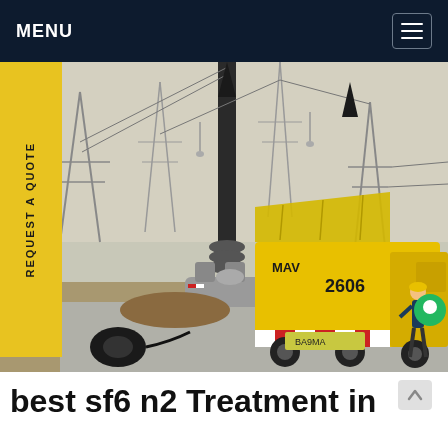MENU
[Figure (photo): Electrical substation with a yellow service truck (marked MAV 2606) parked next to high-voltage equipment including transformers and insulators. Power transmission towers visible in the background. A worker is visible near the truck. The scene is at an outdoor substation on a hazy day.]
best sf6 n2 Treatment in